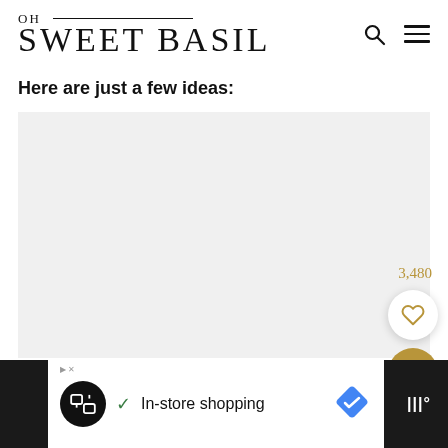OH SWEET BASIL
Here are just a few ideas:
[Figure (photo): Light gray placeholder image block]
3,480
In-store shopping (advertisement bar)